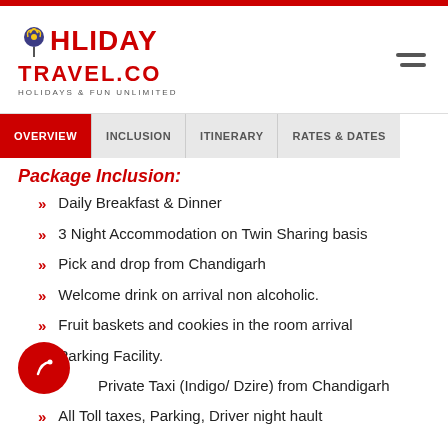HOLIDAY TRAVEL.CO - HOLIDAYS & FUN UNLIMITED
OVERVIEW | INCLUSION | ITINERARY | RATES & DATES
Package Inclusion:
Daily Breakfast & Dinner
3 Night Accommodation on Twin Sharing basis
Pick and drop from Chandigarh
Welcome drink on arrival non alcoholic.
Fruit baskets and cookies in the room arrival
Parking Facility.
Private Taxi (Indigo/ Dzire) from Chandigarh
All Toll taxes, Parking, Driver night hault